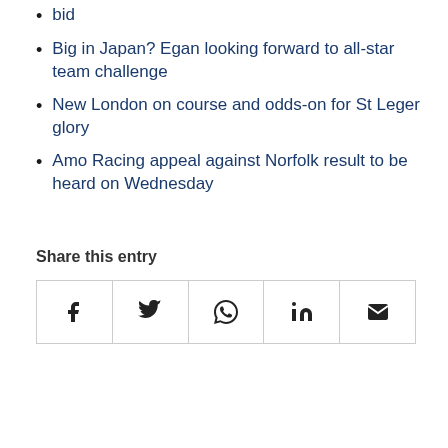bid
Big in Japan? Egan looking forward to all-star team challenge
New London on course and odds-on for St Leger glory
Amo Racing appeal against Norfolk result to be heard on Wednesday
Share this entry
[Figure (other): Share buttons row: Facebook, Twitter, WhatsApp, LinkedIn, Email icons in bordered cells]